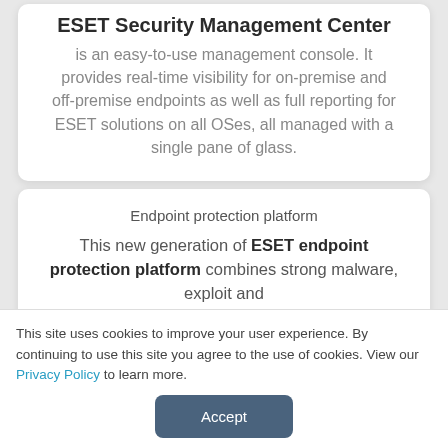ESET Security Management Center
is an easy-to-use management console. It provides real-time visibility for on-premise and off-premise endpoints as well as full reporting for ESET solutions on all OSes, all managed with a single pane of glass.
Endpoint protection platform
This new generation of ESET endpoint protection platform combines strong malware, exploit and
This site uses cookies to improve your user experience. By continuing to use this site you agree to the use of cookies. View our Privacy Policy to learn more.
Accept